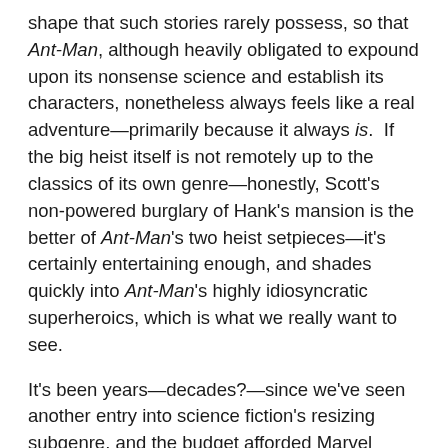shape that such stories rarely possess, so that Ant-Man, although heavily obligated to expound upon its nonsense science and establish its characters, nonetheless always feels like a real adventure—primarily because it always is.  If the big heist itself is not remotely up to the classics of its own genre—honestly, Scott's non-powered burglary of Hank's mansion is the better of Ant-Man's two heist setpieces—it's certainly entertaining enough, and shades quickly into Ant-Man's highly idiosyncratic superheroics, which is what we really want to see.
It's been years—decades?—since we've seen another entry into science fiction's resizing subgenre, and the budget afforded Marvel movies makes for one gorgeously-rendered example of the form.  However, in a turn I don't remember at all from the comics, Scott retains all the strength of a full-grown man when he shrinks.  The result is that Scott can engage in elaborate and intriguingly unique action sequences, shrinking and growing at will.  (Obviously, the idea that a resized object retains its mass is heavily subject to artistic license, and it does nobody any favors to point out every moment where Ant-Man indulges, since it happens